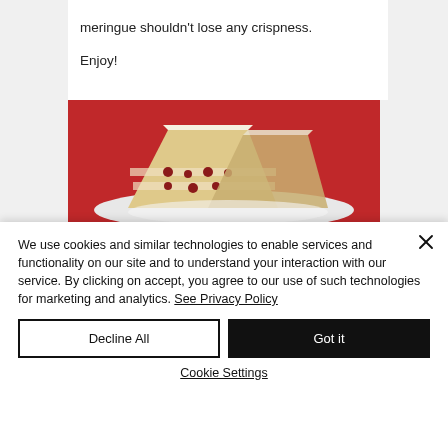meringue shouldn't lose any crispness.

Enjoy!
[Figure (photo): A slice of layered cake with cream and berry filling on a white plate against a red background]
We use cookies and similar technologies to enable services and functionality on our site and to understand your interaction with our service. By clicking on accept, you agree to our use of such technologies for marketing and analytics. See Privacy Policy
Decline All
Got it
Cookie Settings